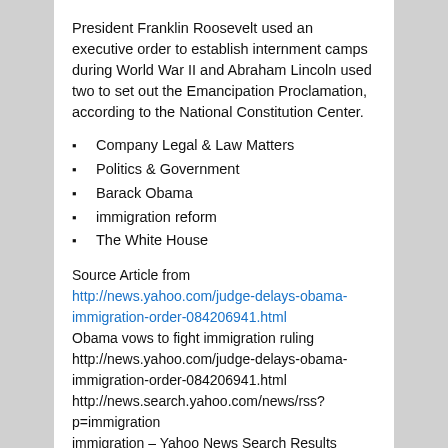President Franklin Roosevelt used an executive order to establish internment camps during World War II and Abraham Lincoln used two to set out the Emancipation Proclamation, according to the National Constitution Center.
Company Legal & Law Matters
Politics & Government
Barack Obama
immigration reform
The White House
Source Article from http://news.yahoo.com/judge-delays-obama-immigration-order-084206941.html
Obama vows to fight immigration ruling
http://news.yahoo.com/judge-delays-obama-immigration-order-084206941.html
http://news.search.yahoo.com/news/rss?p=immigration
immigration – Yahoo News Search Results
immigration – Yahoo News Search Results